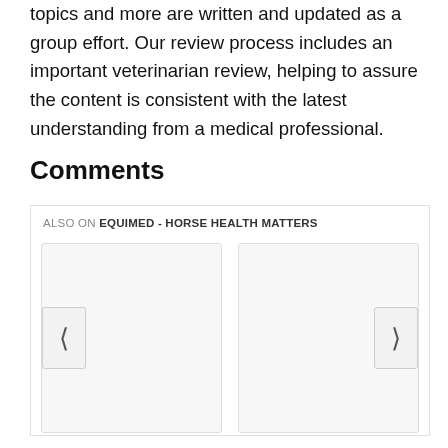topics and more are written and updated as a group effort. Our review process includes an important veterinarian review, helping to assure the content is consistent with the latest understanding from a medical professional.
Comments
[Figure (screenshot): A comments section widget showing 'ALSO ON EQUIMED - HORSE HEALTH MATTERS' header with two card placeholders and left/right navigation arrows.]